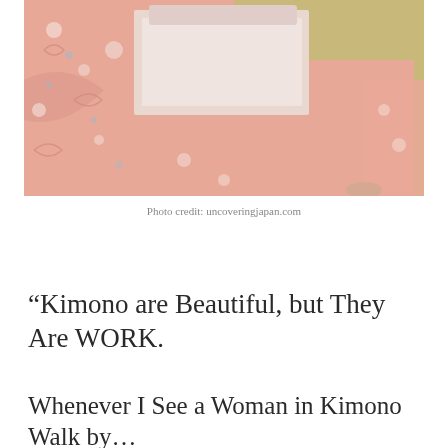[Figure (photo): Close-up photo of a person wearing a pink and white floral patterned kimono with a wide pale pink obi sash tied at the back, showing traditional Japanese dress from behind/side.]
Photo credit: uncoveringjapan.com
“Kimono are Beautiful, but They Are WORK.
Whenever I See a Woman in Kimono Walk by…